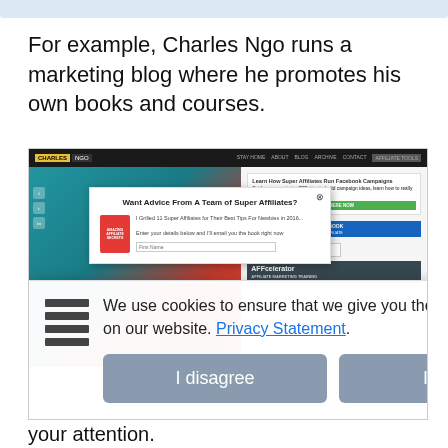For example, Charles Ngo runs a marketing blog where he promotes his own books and courses.
[Figure (screenshot): Screenshot of CharlesNgo.com website with a cookie consent overlay and a popup modal asking 'Want Advice From A Team of Super Affiliates?' with a book image and email form. Cookie banner reads: 'We use cookies to ensure that we give you the best experience on our website. Privacy Statement.' with 'I disagree' and 'I agree' buttons.]
greeted s strong grab your attention.